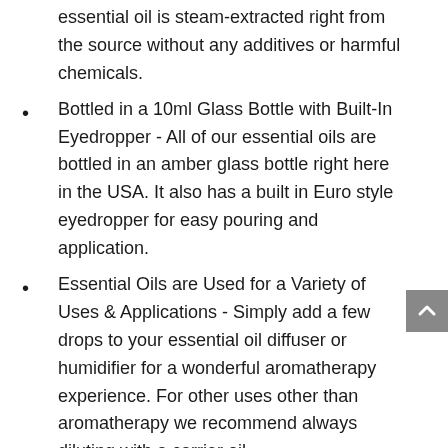essential oil is steam-extracted right from the source without any additives or harmful chemicals.
Bottled in a 10ml Glass Bottle with Built-In Eyedropper - All of our essential oils are bottled in an amber glass bottle right here in the USA. It also has a built in Euro style eyedropper for easy pouring and application.
Essential Oils are Used for a Variety of Uses & Applications - Simply add a few drops to your essential oil diffuser or humidifier for a wonderful aromatherapy experience. For other uses other than aromatherapy we recommend always diluting with a carrier oil.
Healing Solutions Only Offers the Highest